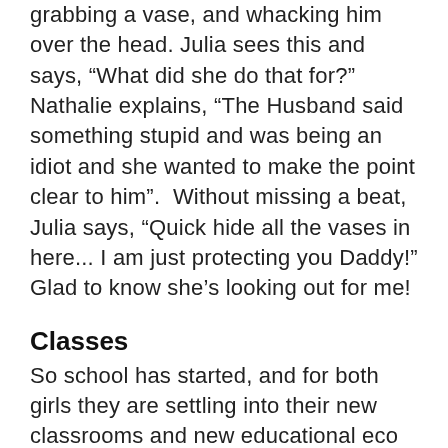grabbing a vase, and whacking him over the head. Julia sees this and says, “What did she do that for?” Nathalie explains, “The Husband said something stupid and was being an idiot and she wanted to make the point clear to him”.  Without missing a beat, Julia says, “Quick hide all the vases in here... I am just protecting you Daddy!” Glad to know she’s looking out for me!
Classes
So school has started, and for both girls they are settling into their new classrooms and new educational eco systems. Julia got the grade 7 teacher she wanted to have this term and had for at least a few days all the